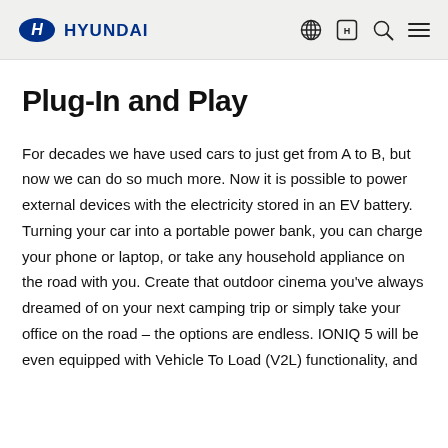HYUNDAI
Plug-In and Play
For decades we have used cars to just get from A to B, but now we can do so much more. Now it is possible to power external devices with the electricity stored in an EV battery. Turning your car into a portable power bank, you can charge your phone or laptop, or take any household appliance on the road with you. Create that outdoor cinema you've always dreamed of on your next camping trip or simply take your office on the road – the options are endless. IONIQ 5 will be even equipped with Vehicle To Load (V2L) functionality, and